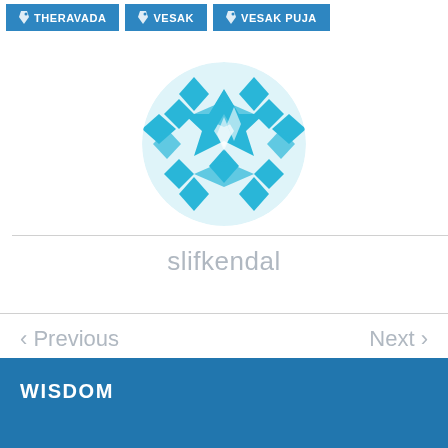THERAVADA  VESAK  VESAK PUJA
[Figure (logo): Circular geometric mandala/diamond pattern logo in cyan/light blue color]
slifkendal
< Previous    Next >
WISDOM